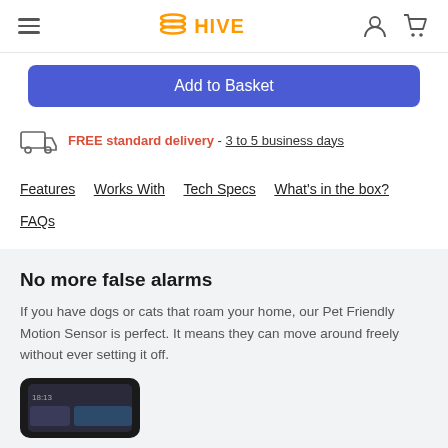HIVE — navigation header with hamburger menu, logo, user icon, cart icon
Add to Basket
FREE standard delivery - 3 to 5 business days
Features  Works With  Tech Specs  What's in the box?  FAQs
No more false alarms
If you have dogs or cats that roam your home, our Pet Friendly Motion Sensor is perfect. It means they can move around freely without ever setting it off.
[Figure (photo): Bottom portion of a smartphone showing a dark screen/app interface]